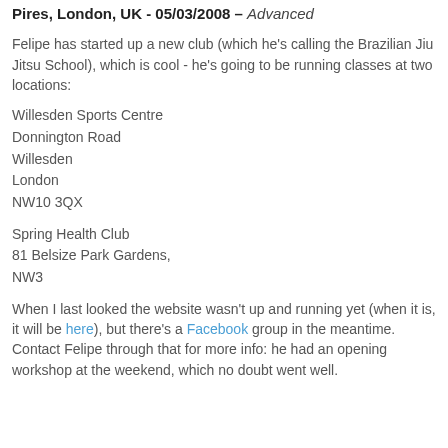Pires, London, UK - 05/03/2008 – Advanced
Felipe has started up a new club (which he's calling the Brazilian Jiu Jitsu School), which is cool - he's going to be running classes at two locations:
Willesden Sports Centre
Donnington Road
Willesden
London
NW10 3QX
Spring Health Club
81 Belsize Park Gardens,
NW3
When I last looked the website wasn't up and running yet (when it is, it will be here), but there's a Facebook group in the meantime. Contact Felipe through that for more info: he had an opening workshop at the weekend, which no doubt went well.